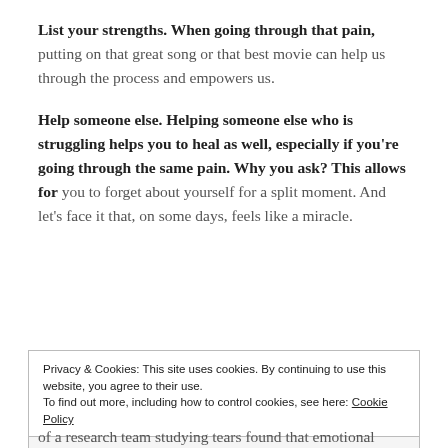List your strengths. When going through that pain, putting on that great song or that best movie can help us through the process and empowers us.
Help someone else. Helping someone else who is struggling helps you to heal as well, especially if you're going through the same pain. Why you ask? This allows for you to forget about yourself for a split moment. And let's face it that, on some days, feels like a miracle.
Privacy & Cookies: This site uses cookies. By continuing to use this website, you agree to their use.
To find out more, including how to control cookies, see here: Cookie Policy
Close and accept
of a research team studying tears found that emotional